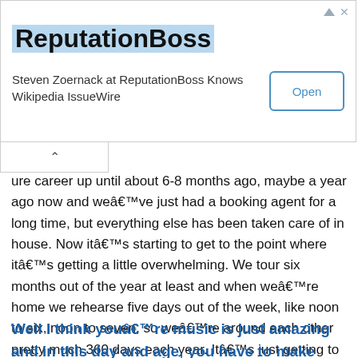[Figure (other): ReputationBoss advertisement banner with logo, tagline 'Steven Zoernack at ReputationBoss Knows Wikipedia IssueWire', and an Open button]
ure career up until about 6-8 months ago, maybe a year ago now and weâve just had a booking agent for a long time, but everything else has been taken care of in house. Now itâs starting to get to the point where itâs getting a little overwhelming. We tour six months out of the year at least and when weâre home we rehearse five days out of the week, like noon to six, noon to seven, so weâre around each other pretty much 360 days each year. Itâs just getting to be a little more of a workload and we have people who are willing to handle stuff so it was like, "Yeah itâs time to get management, time to start being a band instead of a bunch of jokers running around with each other."
Well I think youâre music is just amazing and in this day and age, you have to make music that is real and